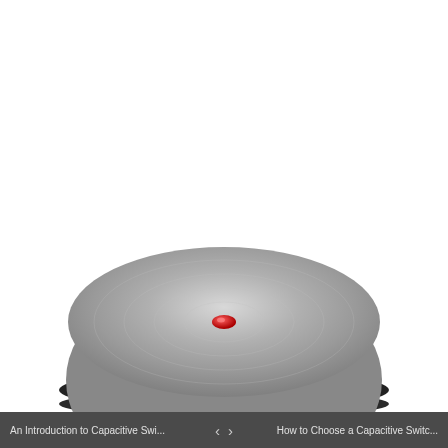bizlian_admin, July 5, 2021, Articles, 0 💬
👁 17 views
[Figure (photo): A circular metallic capacitive switch with brushed steel top surface and a small red LED indicator in the center, mounted on a black round base, photographed from a slight top-down angle against a white background.]
An Introduction to Capacitive Swi... ‹ › How to Choose a Capacitive Switc...